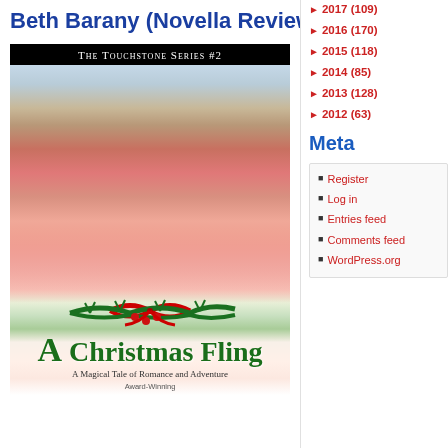Beth Barany (Novella Review)
[Figure (illustration): Book cover for 'A Christmas Fling' by Beth Barany, The Touchstone Series #2. Shows a smiling couple outdoors in winter, woman in red coat, man in brown jacket. Christmas holly decoration at bottom. Subtitle: A Magical Tale of Romance and Adventure. Award-Winning label visible.]
2017 (109)
2016 (170)
2015 (118)
2014 (85)
2013 (128)
2012 (63)
Meta
Register
Log in
Entries feed
Comments feed
WordPress.org